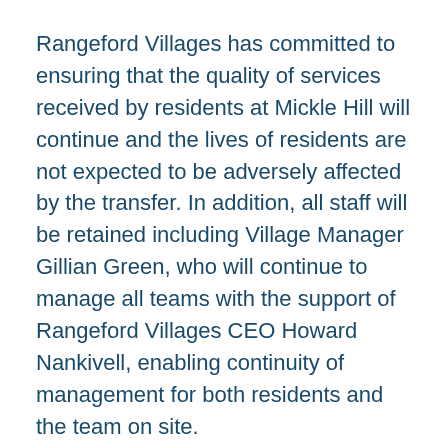Rangeford Villages has committed to ensuring that the quality of services received by residents at Mickle Hill will continue and the lives of residents are not expected to be adversely affected by the transfer. In addition, all staff will be retained including Village Manager Gillian Green, who will continue to manage all teams with the support of Rangeford Villages CEO Howard Nankivell, enabling continuity of management for both residents and the team on site.
Rangeford Villages has extensive experience of both developing and operating villages and communities for people aged 60 plus throughout the UK, with other developments in its portfolio